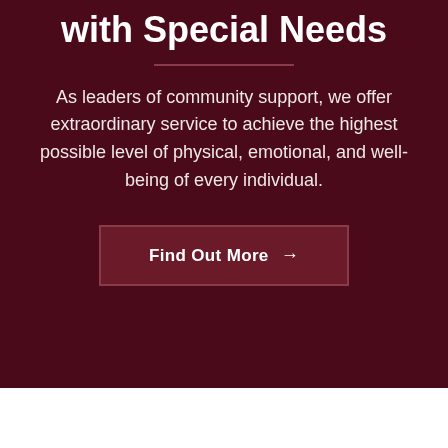with Special Needs
As leaders of community support, we offer extraordinary service to achieve the highest possible level of physical, emotional, and well-being of every individual.
Find Out More →
Welcome to